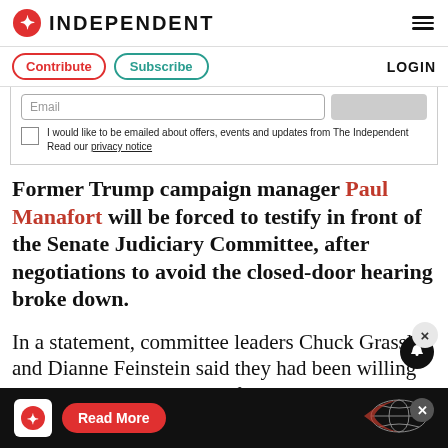INDEPENDENT
Contribute  Subscribe  LOGIN
Email  [checkbox] I would like to be emailed about offers, events and updates from The Independent Read our privacy notice
Former Trump campaign manager Paul Manafort will be forced to testify in front of the Senate Judiciary Committee, after negotiations to avoid the closed-door hearing broke down.
In a statement, committee leaders Chuck Grassley and Dianne Feinstein said they had been willing to accommodate Mr Manafort's desire not to appear, but were unable to reach
Read More